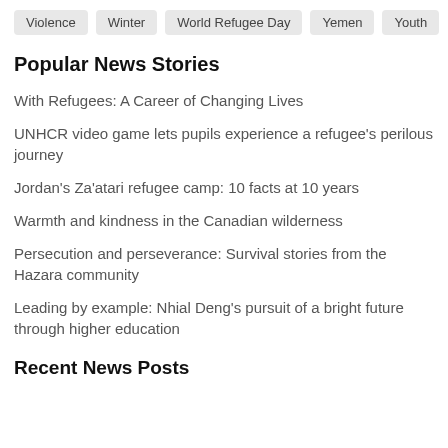Violence
Winter
World Refugee Day
Yemen
Youth
Popular News Stories
With Refugees: A Career of Changing Lives
UNHCR video game lets pupils experience a refugee's perilous journey
Jordan's Za'atari refugee camp: 10 facts at 10 years
Warmth and kindness in the Canadian wilderness
Persecution and perseverance: Survival stories from the Hazara community
Leading by example: Nhial Deng's pursuit of a bright future through higher education
Recent News Posts